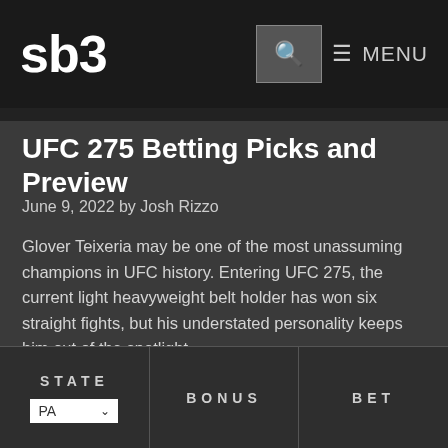sb3  🔍 ☰ MENU
UFC 275 Betting Picks and Preview
June 9, 2022 by Josh Rizzo
Glover Teixeria may be one of the most unassuming champions in UFC history. Entering UFC 275, the current light heavyweight belt holder has won six straight fights, but his understated personality keeps him out of the spotlight.
| STATE | BONUS | BET |
| --- | --- | --- |
| PA ▾ |  |  |